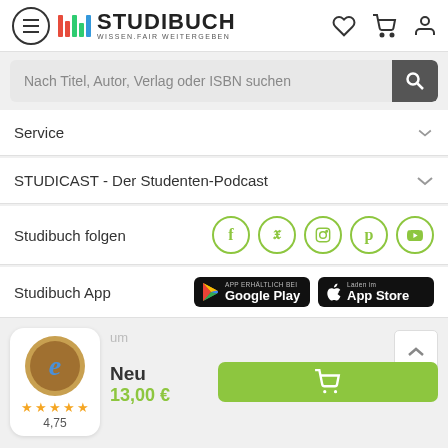[Figure (logo): Studibuch logo with colorful bars and text STUDIBUCH WISSEN.FAIR WEITERGEBEN, plus hamburger menu icon and header icons for wishlist, cart, and profile]
Nach Titel, Autor, Verlag oder ISBN suchen
Service
STUDICAST - Der Studenten-Podcast
Studibuch folgen
Studibuch App
[Figure (screenshot): Google Play and App Store download badges]
[Figure (logo): Trusted Shops guarantee badge with e logo and 4.75 star rating]
Neu
13,00 €